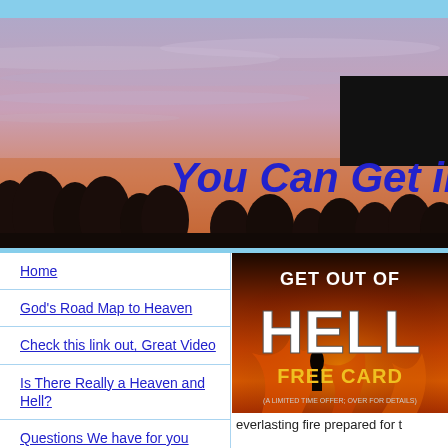[Figure (illustration): Top light blue header bar]
[Figure (photo): Sunset banner image with silhouetted trees and purple/pink sky, dark rectangular shape (redacted) in upper right, bold blue text 'You Can Get in' partially visible on the right side]
[Figure (illustration): Light blue horizontal separator bar]
Home
God's Road Map to Heaven
Check this link out, Great Video
Is There Really a Heaven and Hell?
Questions We have for you
[Figure (photo): Dark promotional card image with fiery background, bold white text 'GET OUT OF' at top, large letters 'HELL' in white, 'FREE CARD' in yellow, small text '(A LIMITED TIME OFFER; OVER FOR DETAILS)' at bottom]
everlasting fire prepared for t